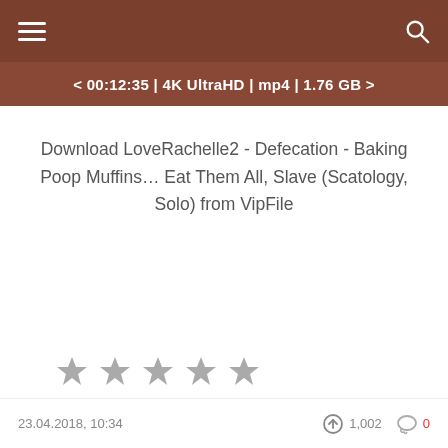≺ 00:12:35 | 4K UltraHD | mp4 | 1.76 GB ≻
Download LoveRachelle2 - Defecation - Baking Poop Muffins… Eat Them All, Slave (Scatology, Solo) from VipFile
[Figure (other): Five grey star rating icons]
23.04.2018, 10:34   1,002   0